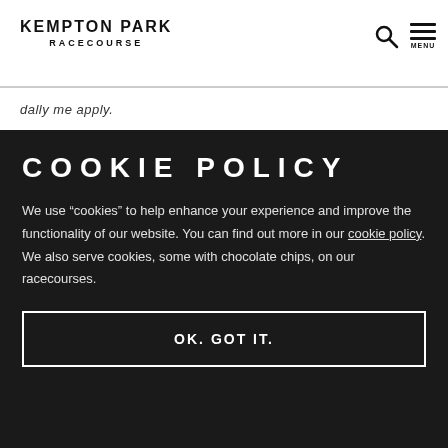KEMPTON PARK RACECOURSE
dally me apply.
COOKIE POLICY
We use “cookies” to help enhance your experience and improve the functionality of our website. You can find out more in our cookie policy. We also serve cookies, some with chocolate chips, on our racecourses.
OK. GOT IT.